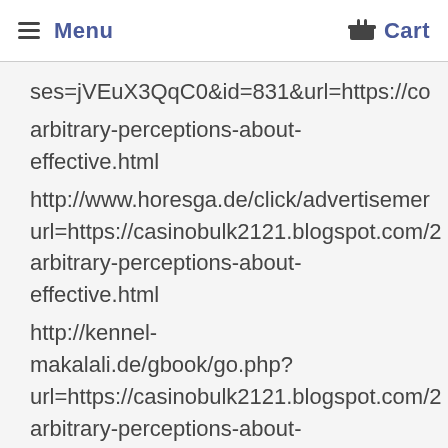Menu  Cart
ses=jVEuX3QqC0&id=831&url=https://co arbitrary-perceptions-about-effective.html http://www.horesga.de/click/advertisemer url=https://casinobulk2121.blogspot.com/2 arbitrary-perceptions-about-effective.html http://kennel-makalali.de/gbook/go.php? url=https://casinobulk2121.blogspot.com/2 arbitrary-perceptions-about-effective.html